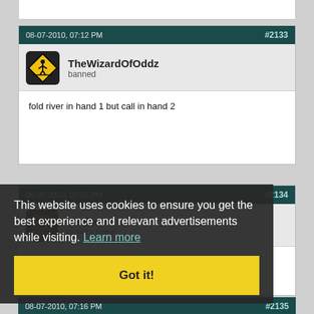08-07-2010, 07:12 PM  #2133
TheWizardOfOddz
banned
fold river in hand 1 but call in hand 2
08-07-2010, 07:15 PM  #2134
Meqloooo
carpal v tunnel
want $50 on durrr at 1:1 vs jungleman

quote to book
This website uses cookies to ensure you get the best experience and relevant advertisements while visiting. Learn more
Got it!
08-07-2010, 07:16 PM  #2135